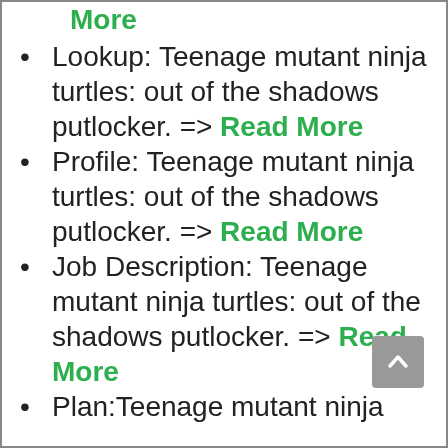More
Lookup: Teenage mutant ninja turtles: out of the shadows putlocker. => Read More
Profile: Teenage mutant ninja turtles: out of the shadows putlocker. => Read More
Job Description: Teenage mutant ninja turtles: out of the shadows putlocker. => Read More
Plan:Teenage mutant ninja